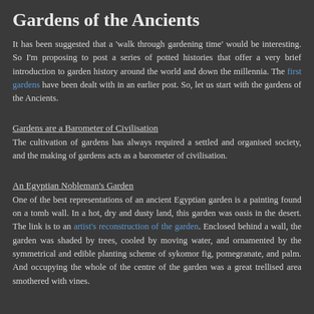Gardens of the Ancients
It has been suggested that a 'walk through gardening time' would be interesting.  So I'm proposing to post a series of potted histories that offer a very brief introduction to garden history around the world and down the millennia.   The first gardens have been dealt with in an earlier post.  So, let us start with the gardens of the Ancients.
Gardens are a Barometer of Civilisation
The cultivation of gardens has always required a settled and organised society, and the making of gardens acts as a barometer of civilisation.
An Egyptian Nobleman's Garden
One of the best representations of an ancient Egyptian garden is a painting found on a tomb wall.  In a hot, dry and dusty land, this garden was oasis in the desert.  The link is to an artist's reconstruction of the garden.  Enclosed behind a wall, the garden was shaded by trees, cooled by moving water, and ornamented by the symmetrical and edible planting scheme of sykomor fig, pomegranate, and palm.   And occupying the whole of the centre of the garden was a great trellised area smothered with vines.